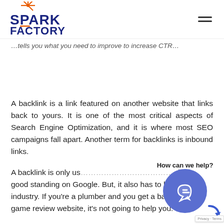[Figure (logo): Spark Factory logo with orange star/spark graphic and navy blue bold text SPARK FACTORY, with TM mark]
…tells you what you need to improve to increase CTR…
A backlink is a link featured on another website that links back to yours. It is one of the most critical aspects of Search Engine Optimization, and it is where most SEO campaigns fall apart. Another term for backlinks is inbound links.
A backlink is only us… di… good standing on Google. But, it also has to be… industry. If you're a plumber and you get a backlink f… game review website, it's not going to help you.
[Figure (other): Chat widget with blue circular button showing chat arrow icon and label 'How can we help?' with reCAPTCHA Privacy·Terms badge]